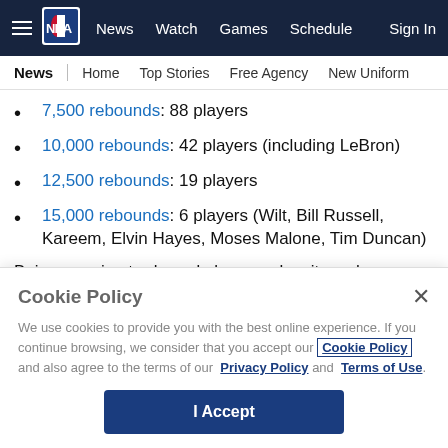NBA — News | Watch | Games | Schedule | Sign In
News | Home | Top Stories | Free Agency | New Uniform
7,500 rebounds: 88 players
10,000 rebounds: 42 players (including LeBron)
12,500 rebounds: 19 players
15,000 rebounds: 6 players (Wilt, Bill Russell, Kareem, Elvin Hayes, Moses Malone, Tim Duncan)
Being a perimeter-based player makes it much more
Cookie Policy
We use cookies to provide you with the best online experience. If you continue browsing, we consider that you accept our Cookie Policy and also agree to the terms of our Privacy Policy and Terms of Use.
I Accept